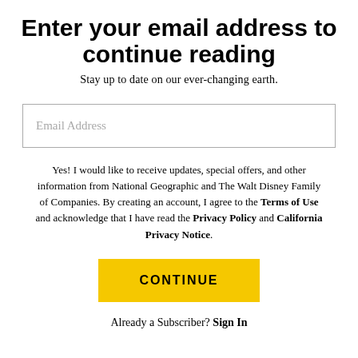Enter your email address to continue reading
Stay up to date on our ever-changing earth.
Email Address
Yes! I would like to receive updates, special offers, and other information from National Geographic and The Walt Disney Family of Companies. By creating an account, I agree to the Terms of Use and acknowledge that I have read the Privacy Policy and California Privacy Notice.
CONTINUE
Already a Subscriber? Sign In